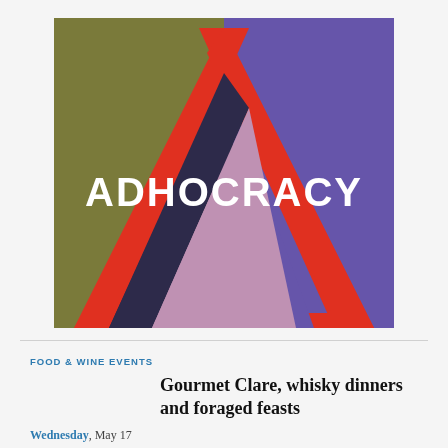[Figure (logo): Adhocracy logo: colorful geometric design with large letter A shape made of colored triangles (olive green top-left, purple top-right, dark navy inner triangle, pink/mauve inner triangle, red border of A shape) with white bold text 'ADHOCRACY' across the middle]
FOOD & WINE EVENTS
Gourmet Clare, whisky dinners and foraged feasts
Wednesday, May 17